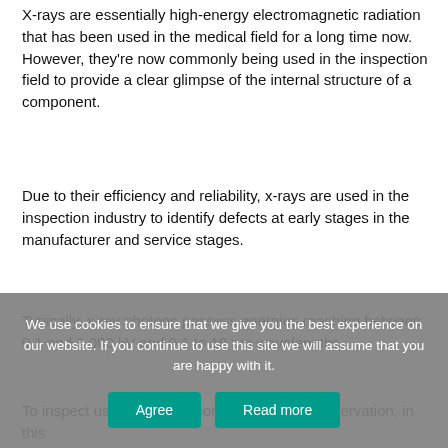X-rays are essentially high-energy electromagnetic radiation that has been used in the medical field for a long time now. However, they're now commonly being used in the inspection field to provide a clear glimpse of the internal structure of a component.
Due to their efficiency and reliability, x-rays are used in the inspection industry to identify defects at early stages in the manufacturer and service stages.
Typically, x-ray photons possess energies reaching between 0.1 and 1,000 kV and 0.1 to 10 nm wavelengths.
To inspect using x-rays, a component under observation, in this
We use cookies to ensure that we give you the best experience on our website. If you continue to use this site we will assume that you are happy with it.